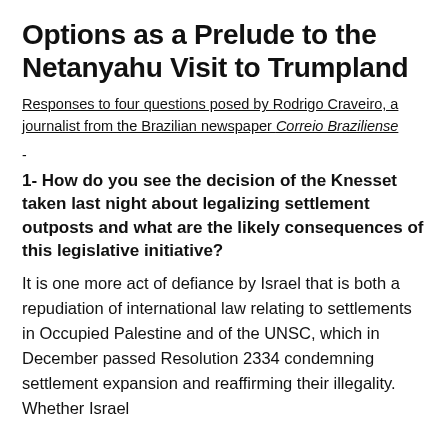Options as a Prelude to the Netanyahu Visit to Trumpland
Responses to four questions posed by Rodrigo Craveiro, a journalist from the Brazilian newspaper Correio Braziliense
-
1- How do you see the decision of the Knesset taken last night about legalizing settlement outposts and what are the likely consequences of this legislative initiative?
It is one more act of defiance by Israel that is both a repudiation of international law relating to settlements in Occupied Palestine and of the UNSC, which in December passed Resolution 2334 condemning settlement expansion and reaffirming their illegality. Whether Israel